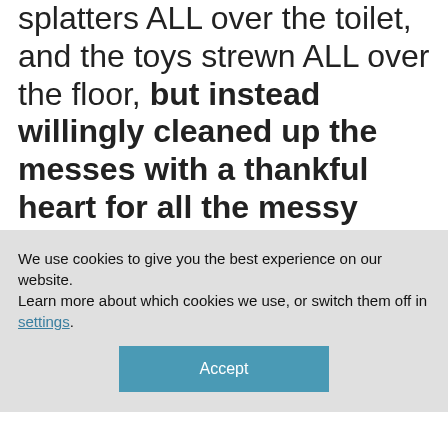splatters ALL over the toilet, and the toys strewn ALL over the floor, but instead willingly cleaned up the messes with a thankful heart for all the messy people in our lives?
We use cookies to give you the best experience on our website.
Learn more about which cookies we use, or switch them off in settings.
Accept